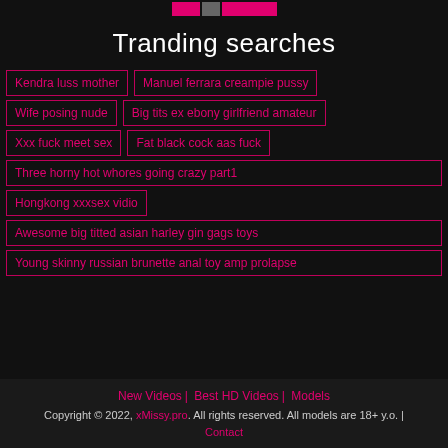Tranding searches
Kendra luss mother
Manuel ferrara creampie pussy
Wife posing nude
Big tits ex ebony girlfriend amateur
Xxx fuck meet sex
Fat black cock aas fuck
Three horny hot whores going crazy part1
Hongkong xxxsex vidio
Awesome big titted asian harley gin gags toys
Young skinny russian brunette anal toy amp prolapse
New Videos | Best HD Videos | Models
Copyright © 2022, xMissy.pro. All rights reserved. All models are 18+ y.o. | Contact